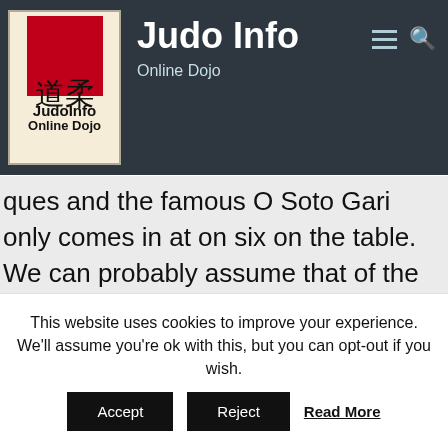[Figure (logo): JudoInfo Online Dojo logo with red kanji box and site name]
Judo Info
Online Dojo
ques and the famous O Soto Gari only comes in at on six on the table. We can probably assume that of the combinations involved O Soto Gari and Uchi There are 161 recorded scores, from a winning of 203 matches. 42 were won without a deciding
This website uses cookies to improve your experience. We'll assume you're ok with this, but you can opt-out if you wish.
Accept   Reject   Read More